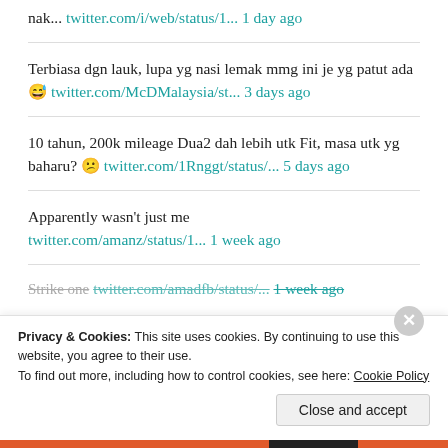nak... twitter.com/i/web/status/1... 1 day ago
Terbiasa dgn lauk, lupa yg nasi lemak mmg ini je yg patut ada 😅 twitter.com/McDMalaysia/st... 3 days ago
10 tahun, 200k mileage Dua2 dah lebih utk Fit, masa utk yg baharu? 😕 twitter.com/1Rnggt/status/... 5 days ago
Apparently wasn't just me twitter.com/amanz/status/1... 1 week ago
Strike one twitter.com/amadfb/status/... 1 week ago
Privacy & Cookies: This site uses cookies. By continuing to use this website, you agree to their use. To find out more, including how to control cookies, see here: Cookie Policy
Close and accept